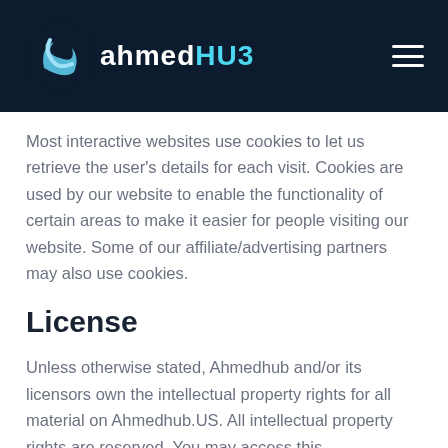AhmedHUB
Most interactive websites use cookies to let us retrieve the user's details for each visit. Cookies are used by our website to enable the functionality of certain areas to make it easier for people visiting our website. Some of our affiliate/advertising partners may also use cookies.
License
Unless otherwise stated, Ahmedhub and/or its licensors own the intellectual property rights for all material on Ahmedhub.US. All intellectual property rights are reserved. You may access this